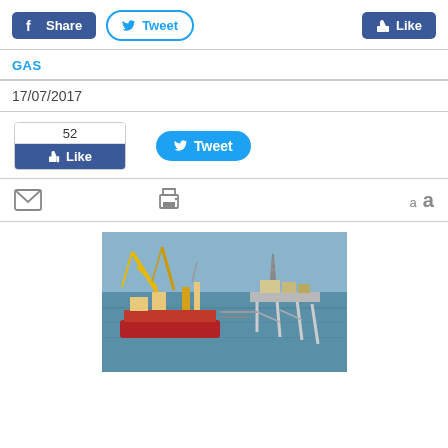[Figure (screenshot): Social media sharing buttons: Facebook Share (blue), Twitter Tweet (white/blue outline), Facebook Like (blue) aligned right]
GAS
17/07/2017
[Figure (screenshot): Facebook Like box showing count 52 and Like button, plus Twitter Tweet button]
[Figure (screenshot): Toolbar row with email icon, print icon, and text resize buttons (a A)]
[Figure (photo): Aerial photo of offshore oil and gas platforms/vessels on open water]